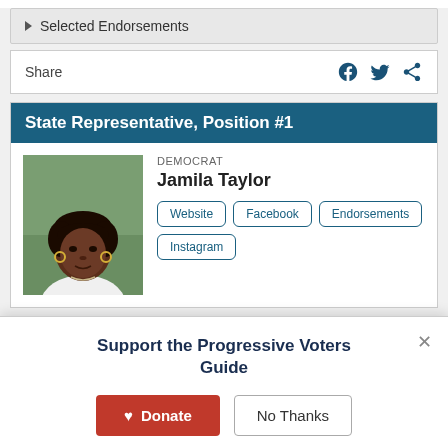▶ Selected Endorsements
Share
State Representative, Position #1
DEMOCRAT
Jamila Taylor
[Figure (photo): Portrait photo of Jamila Taylor, a Black woman with short hair, wearing a white top and hoop earrings, outdoors with green background]
Website
Facebook
Endorsements
Instagram
Support the Progressive Voters Guide
♡ Donate
No Thanks